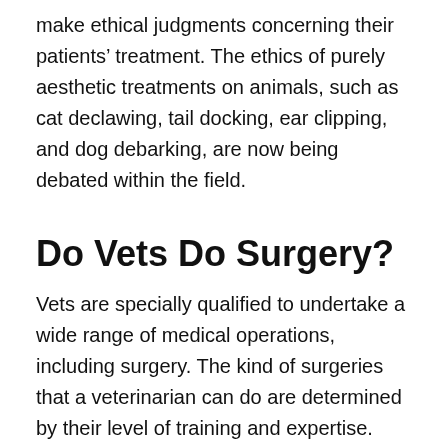make ethical judgments concerning their patients' treatment. The ethics of purely aesthetic treatments on animals, such as cat declawing, tail docking, ear clipping, and dog debarking, are now being debated within the field.
Do Vets Do Surgery?
Vets are specially qualified to undertake a wide range of medical operations, including surgery. The kind of surgeries that a veterinarian can do are determined by their level of training and expertise. Some veterinarians may specialize in certain forms of surgery, such as orthopedic or soft tissue surgery. Others may be generalists who can